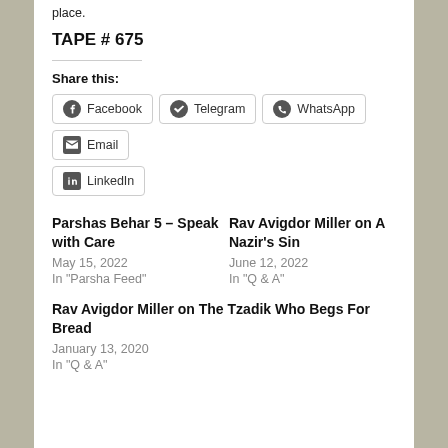place.
TAPE # 675
Share this:
Facebook  Telegram  WhatsApp  Email  LinkedIn
Parshas Behar 5 – Speak with Care
May 15, 2022
In "Parsha Feed"
Rav Avigdor Miller on A Nazir's Sin
June 12, 2022
In "Q & A"
Rav Avigdor Miller on The Tzadik Who Begs For Bread
January 13, 2020
In "Q & A"